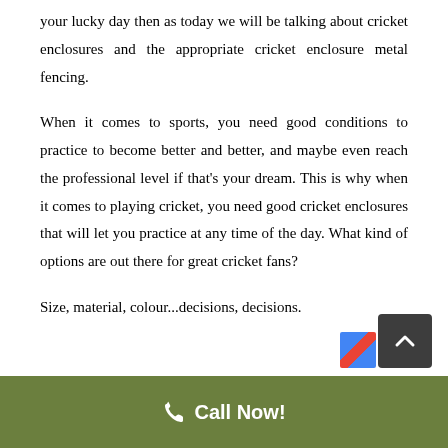your lucky day then as today we will be talking about cricket enclosures and the appropriate cricket enclosure metal fencing.

When it comes to sports, you need good conditions to practice to become better and better, and maybe even reach the professional level if that's your dream. This is why when it comes to playing cricket, you need good cricket enclosures that will let you practice at any time of the day. What kind of options are out there for great cricket fans?

Size, material, colour...decisions, decisions.
Call Now!